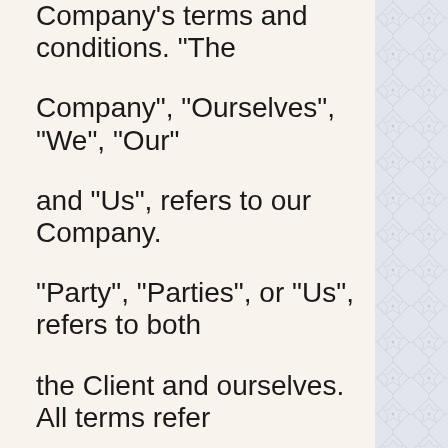Company's terms and conditions. "The Company", "Ourselves", "We", "Our" and "Us", refers to our Company. "Party", "Parties", or "Us", refers to both the Client and ourselves. All terms refer to the offer, acceptance and consideration of payment necessary to undertake the process of our assistance to the Client in the most appropriate manner for the express